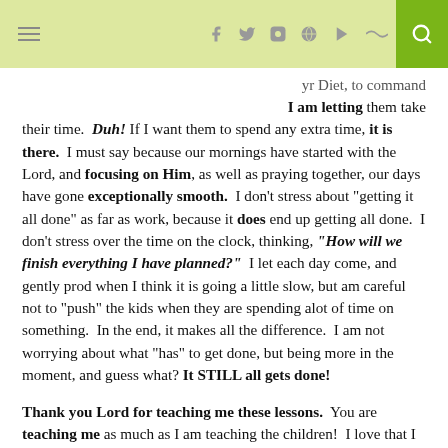≡  f  t  ☐  ⊕  ▶  ☁  🔍
yr Diet, to command I am letting them take their time. Duh! If I want them to spend any extra time, it is there. I must say because our mornings have started with the Lord, and focusing on Him, as well as praying together, our days have gone exceptionally smooth. I don't stress about "getting it all done" as far as work, because it does end up getting all done. I don't stress over the time on the clock, thinking, "How will we finish everything I have planned?" I let each day come, and gently prod when I think it is going a little slow, but am careful not to "push" the kids when they are spending alot of time on something. In the end, it makes all the difference. I am not worrying about what "has" to get done, but being more in the moment, and guess what? It STILL all gets done!
Thank you Lord for teaching me these lessons. You are teaching me as much as I am teaching the children! I love that I